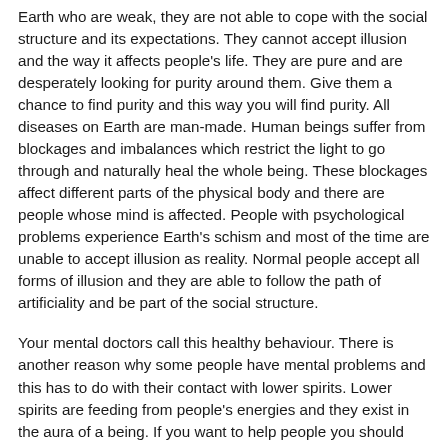Earth who are weak, they are not able to cope with the social structure and its expectations. They cannot accept illusion and the way it affects people's life. They are pure and are desperately looking for purity around them. Give them a chance to find purity and this way you will find purity. All diseases on Earth are man-made. Human beings suffer from blockages and imbalances which restrict the light to go through and naturally heal the whole being. These blockages affect different parts of the physical body and there are people whose mind is affected. People with psychological problems experience Earth's schism and most of the time are unable to accept illusion as reality. Normal people accept all forms of illusion and they are able to follow the path of artificiality and be part of the social structure.
Your mental doctors call this healthy behaviour. There is another reason why some people have mental problems and this has to do with their contact with lower spirits. Lower spirits are feeding from people's energies and they exist in the aura of a being. If you want to help people you should connect to your true-self by healing your imbalances and blockages and then spread to cosmic light to others. All people on Earth suffer from the same disease; some of you have already seen the symptoms but many of you ignore the signs. Connecting to the light of the cosmos you can heal yourself and others who connect to you.